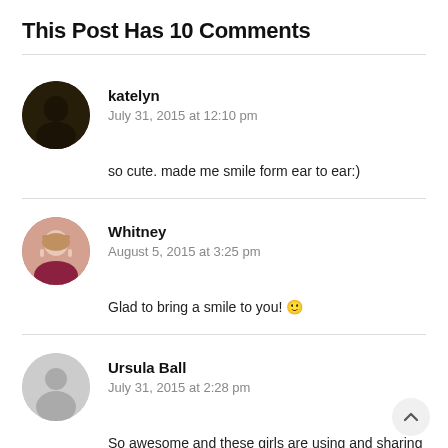This Post Has 10 Comments
katelyn
July 31, 2015 at 12:10 pm
so cute. made me smile form ear to ear:)
Whitney
August 5, 2015 at 3:25 pm
Glad to bring a smile to you! 🙂
Ursula Ball
July 31, 2015 at 2:28 pm
So awesome and these girls are using and sharing their opinions and ministry...